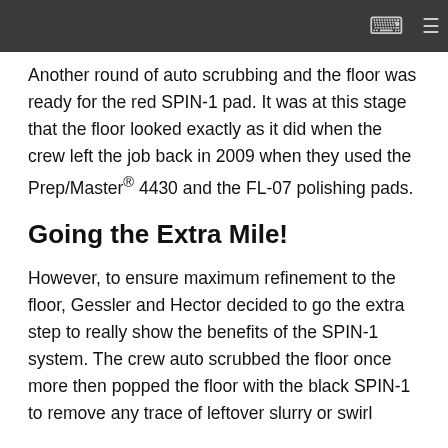Another round of auto scrubbing and the floor was ready for the red SPIN-1 pad. It was at this stage that the floor looked exactly as it did when the crew left the job back in 2009 when they used the Prep/Master® 4430 and the FL-07 polishing pads.
Going the Extra Mile!
However, to ensure maximum refinement to the floor, Gessler and Hector decided to go the extra step to really show the benefits of the SPIN-1 system. The crew auto scrubbed the floor once more then popped the floor with the black SPIN-1 to remove any trace of leftover slurry or swirl